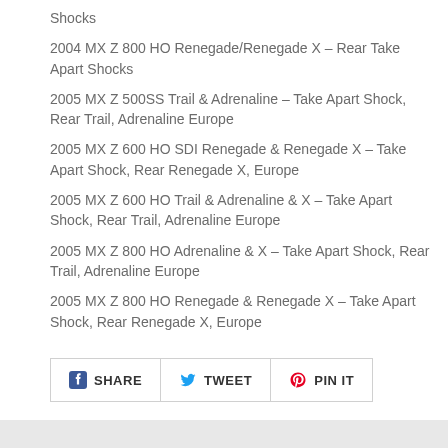Shocks
2004 MX Z 800 HO Renegade/Renegade X – Rear Take Apart Shocks
2005 MX Z 500SS Trail & Adrenaline – Take Apart Shock, Rear Trail, Adrenaline Europe
2005 MX Z 600 HO SDI Renegade & Renegade X – Take Apart Shock, Rear Renegade X, Europe
2005 MX Z 600 HO Trail & Adrenaline & X – Take Apart Shock, Rear Trail, Adrenaline Europe
2005 MX Z 800 HO Adrenaline & X – Take Apart Shock, Rear Trail, Adrenaline Europe
2005 MX Z 800 HO Renegade & Renegade X – Take Apart Shock, Rear Renegade X, Europe
[Figure (infographic): Social sharing buttons: Facebook Share, Twitter Tweet, Pinterest Pin It]